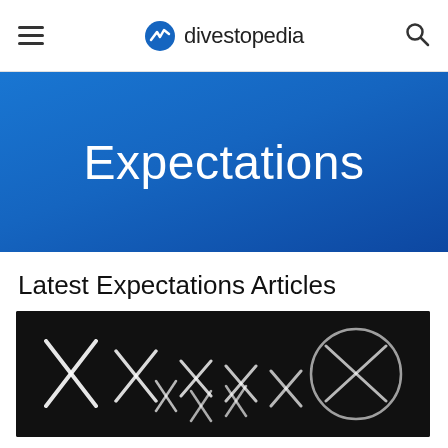divestopedia
Expectations
Latest Expectations Articles
[Figure (photo): Dark background image with white X marks and stitching pattern]